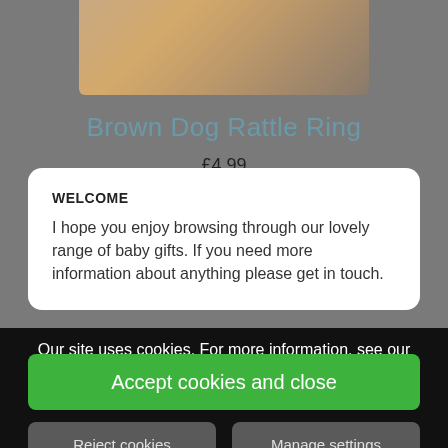[Figure (photo): Partial product image of Brown Dog Rattle Ring toy at top of page]
Brown Dog Rattle Ring
£4.99
WELCOME
I hope you enjoy browsing through our lovely range of baby gifts. If you need more information about anything please get in touch.
Our site uses cookies. For more information, see our cookie policy.
Accept cookies and close
Reject cookies
Manage settings